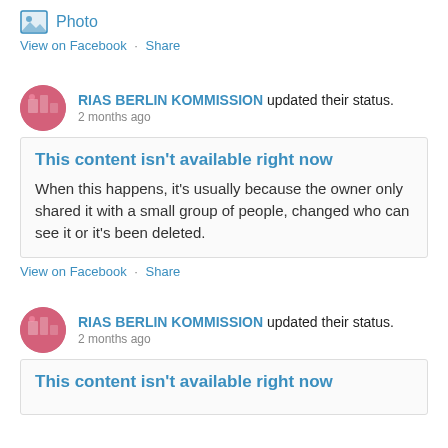[Figure (illustration): Photo icon (image placeholder icon) with label 'Photo' in blue]
View on Facebook · Share
RIAS BERLIN KOMMISSION updated their status. 2 months ago
This content isn't available right now
When this happens, it's usually because the owner only shared it with a small group of people, changed who can see it or it's been deleted.
View on Facebook · Share
RIAS BERLIN KOMMISSION updated their status. 2 months ago
This content isn't available right now